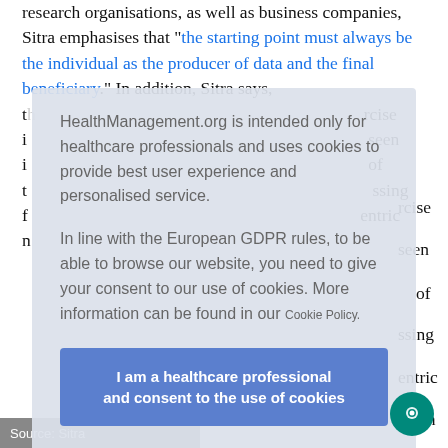research organisations, as well as business companies, Sitra emphasises that "the starting point must always be the individual as the producer of data and the final beneficiary." In addition, Sitra says, the... ...rcise in... ...seen in... ...of the... ...ssing f... ...entric m...
HealthManagement.org is intended only for healthcare professionals and uses cookies to provide best user experience and personalised service.

In line with the European GDPR rules, to be able to browse our website, you need to give your consent to our use of cookies. More information can be found in our Cookie Policy.
I am a healthcare professional and consent to the use of cookies
Source: Sitra